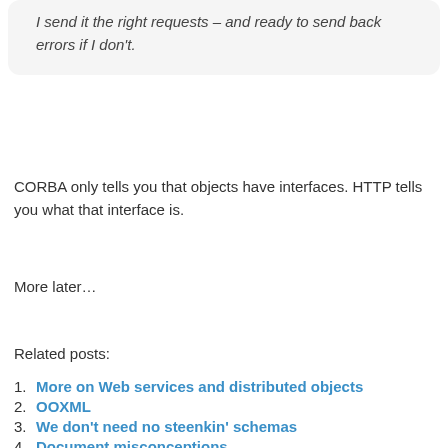I send it the right requests – and ready to send back errors if I don't.
CORBA only tells you that objects have interfaces. HTTP tells you what that interface is.
More later…
Related posts:
1. More on Web services and distributed objects
2. OOXML
3. We don't need no steenkin' schemas
4. Document misconceptions
5. XML self-describing?